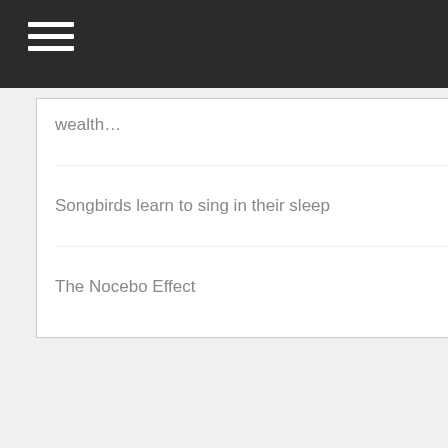wealth…
Songbirds learn to sing in their sleep
The Nocebo Effect
[Figure (photo): Book cover: Keeping the BRAIN in MIND – Practical neuroscience for coaches, therapists and hypnosis practitioners, by Shawn Carson and Melissa Tiers. Dark blue cover with a glowing brain image.]